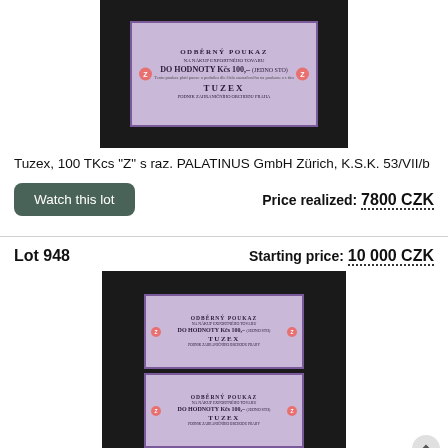[Figure (photo): Photo of a Tuzex 100 TKcs voucher 'Z' with PALATINUS GmbH Zürich stamp, shown against black background]
Tuzex, 100 TKcs "Z" s raz. PALATINUS GmbH Zürich, K.S.K. 53/VII/b
Watch this lot
Price realized: 7800 CZK
Lot 948
Starting price: 10 000 CZK
[Figure (photo): Photo of two Tuzex 100 TKcs vouchers stacked, shown against black background]